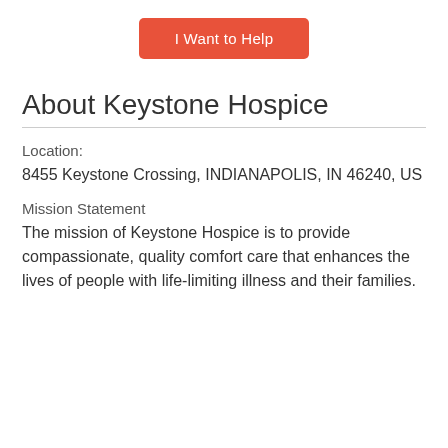[Figure (other): Orange rounded rectangle button with white text 'I Want to Help']
About Keystone Hospice
Location:
8455 Keystone Crossing, INDIANAPOLIS, IN 46240, US
Mission Statement
The mission of Keystone Hospice is to provide compassionate, quality comfort care that enhances the lives of people with life-limiting illness and their families.